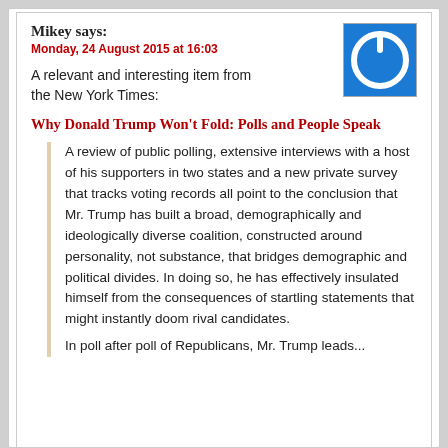Mikey says:
Monday, 24 August 2015 at 16:03
A relevant and interesting item from the New York Times:
Why Donald Trump Won’t Fold: Polls and People Speak
A review of public polling, extensive interviews with a host of his supporters in two states and a new private survey that tracks voting records all point to the conclusion that Mr. Trump has built a broad, demographically and ideologically diverse coalition, constructed around personality, not substance, that bridges demographic and political divides. In doing so, he has effectively insulated himself from the consequences of startling statements that might instantly doom rival candidates.
In poll after poll of Republicans, Mr. Trump leads...